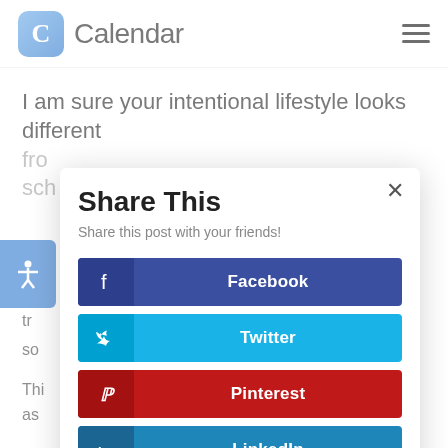Calendar
I am sure your intentional lifestyle looks different fro... sch...
[Figure (screenshot): Share This modal dialog with social sharing buttons: Facebook, Twitter, Pinterest, LinkedIn]
Thi... as... e'll h.